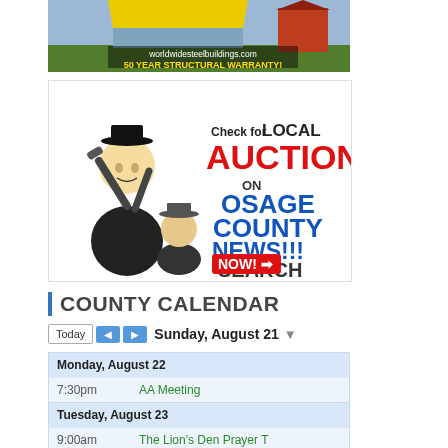[Figure (illustration): Worldwide Steel Buildings advertisement with photo of steel building and barn, text: worldwidesteelbuildings.com, 50 YEAR STRUCTURAL WARRANTY!]
[Figure (illustration): Auction advertisement with cartoon auctioneer figure. Text: Check for LOCAL AUCTIONS ON OSAGE COUNTY NEWS!!! SEARCH NOW!]
COUNTY CALENDAR
Today  ◄  ►  Sunday, August 21 ▾
| Time | Event |
| --- | --- |
| Monday, August 22 |  |
| 7:30pm | AA Meeting |
| Tuesday, August 23 |  |
| 9:00am | The Lion's Den Prayer T |
| 6:00pm | Celebrate Recovery |
| 6:30pm | Scranton Lions Club |